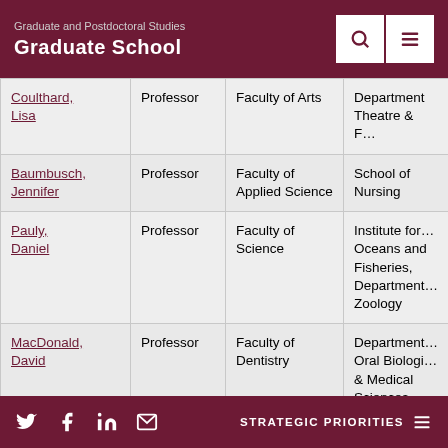Graduate and Postdoctoral Studies
Graduate School
| Name | Rank | Faculty | Department/School |
| --- | --- | --- | --- |
| Coulthard, Lisa | Professor | Faculty of Arts | Department Theatre & F… |
| Baumbusch, Jennifer | Professor | Faculty of Applied Science | School of Nursing |
| Pauly, Daniel | Professor | Faculty of Science | Institute for … Oceans and Fisheries, Department… Zoology |
| MacDonald, David | Professor | Faculty of Dentistry | Department… Oral Biologi… & Medical Sciences |
STRATEGIC PRIORITIES